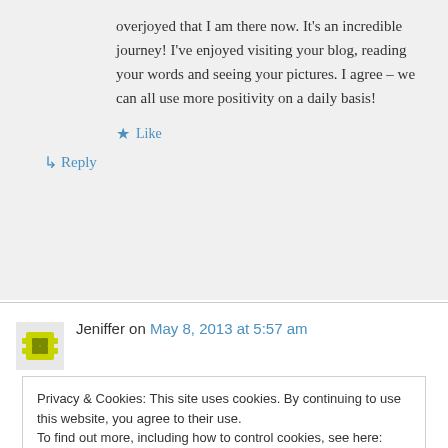overjoyed that I am there now. It's an incredible journey! I've enjoyed visiting your blog, reading your words and seeing your pictures. I agree – we can all use more positivity on a daily basis!
★ Like
↳ Reply
Jeniffer on May 8, 2013 at 5:57 am
Privacy & Cookies: This site uses cookies. By continuing to use this website, you agree to their use.
To find out more, including how to control cookies, see here: Cookie Policy
Close and accept